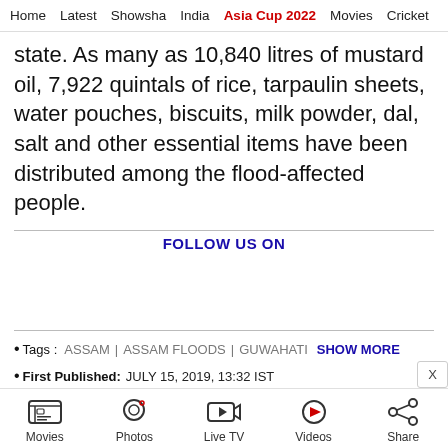Home  Latest  Showsha  India  Asia Cup 2022  Movies  Cricket
state. As many as 10,840 litres of mustard oil, 7,922 quintals of rice, tarpaulin sheets, water pouches, biscuits, milk powder, dal, salt and other essential items have been distributed among the flood-affected people.
FOLLOW US ON
• Tags :  ASSAM  |  ASSAM FLOODS  |  GUWAHATI  SHOW MORE
• First Published: JULY 15, 2019, 13:32 IST
Movies  Photos  Live TV  Videos  Share